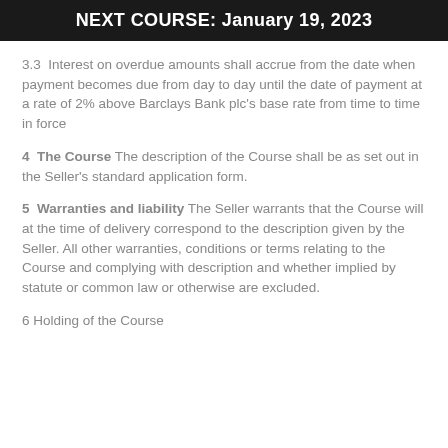NEXT COURSE: January 19, 2023
3.3  Interest on overdue amounts shall accrue from the date when payment becomes due from day to day until the date of payment at a rate of 2% above Barclays Bank plc's base rate from time to time in force
4  The Course The description of the Course shall be as set out in the Seller's standard application form.
5  Warranties and liability The Seller warrants that the Course will at the time of delivery correspond to the description given by the Seller. All other warranties, conditions or terms relating to the Course and complying with description and whether implied by statute or common law or otherwise are excluded.
6 Holding of the Course